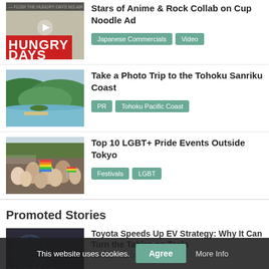[Figure (photo): Thumbnail image for 'Hungry Days' anime/rock Cup Noodle ad, showing animated character sketch with red text]
Stars of Anime & Rock Collab on Cup Noodle Ad
Japanese Commercials
Video
[Figure (photo): Thumbnail image of Tohoku Sanriku Coast scenic lake and forested hills]
Take a Photo Trip to the Tohoku Sanriku Coast
PR
Tohoku Pacific Coast
[Figure (photo): Thumbnail image of LGBT+ Pride event crowd with rainbow flags]
Top 10 LGBT+ Pride Events Outside Tokyo
Festivals
LGBT
Promoted Stories
[Figure (photo): Thumbnail image with dark background and 'WORLD INSIGHT' text]
Toyota Speeds Up EV Strategy: Why It Can Turn the Tables on Tesla
WORLD INSIGHT
This website uses cookies.